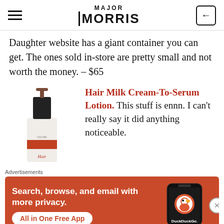Major Morris
Daughter website has a giant container you can get. The ones sold in-store are pretty small and not worth the money. – $65
[Figure (photo): Product photo of a white spray bottle with black cap and red label stripe]
Hair Milk Cream-To-Serum Lotion. This stuff is ennn. I can't really say it did anything noticeable.
Advertisements
[Figure (infographic): DuckDuckGo advertisement banner: Search, browse, and email with more privacy. All in One Free App.]